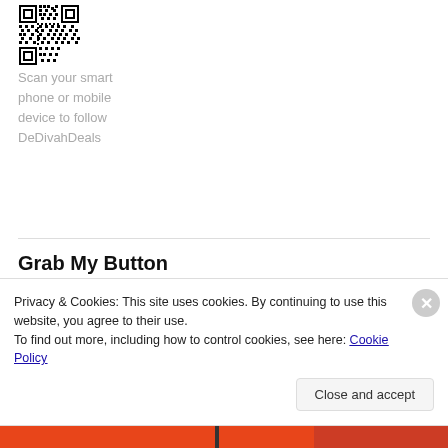[Figure (other): QR code image in black and white, square matrix barcode]
Scan your smart phone or mobile device to follow DeDivahDeals
Grab My Button
[Figure (photo): Photo of a woman with dark curly hair sitting outdoors on a bench near a metal fence, wearing a colorful floral top]
Privacy & Cookies: This site uses cookies. By continuing to use this website, you agree to their use.
To find out more, including how to control cookies, see here: Cookie Policy
Close and accept